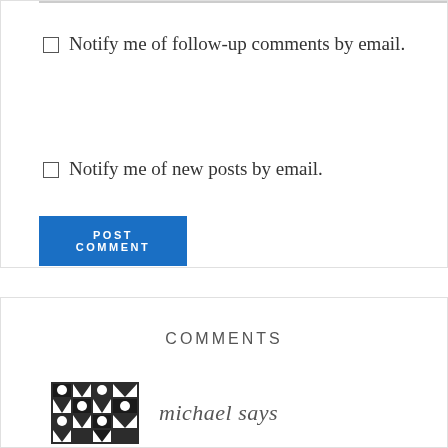Notify me of follow-up comments by email.
Notify me of new posts by email.
POST COMMENT
COMMENTS
michael says